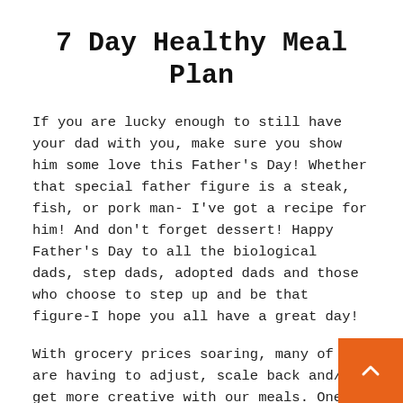7 Day Healthy Meal Plan
If you are lucky enough to still have your dad with you, make sure you show him some love this Father’s Day! Whether that special father figure is a steak, fish, or pork man- I’ve got a recipe for him! And don’t forget dessert! Happy Father’s Day to all the biological  dads, step dads, adopted dads and those who choose to step up and be that figure-I hope you all have a great day!
With grocery prices soaring, many of us are having to adjust, scale back and/or get more creative with our meals. One of the absolute BEST ways to stay with budget and maintain healthy eating habits is to MEAL PLAN. You can get more 5-day Budget Friendly Meal Plans by...